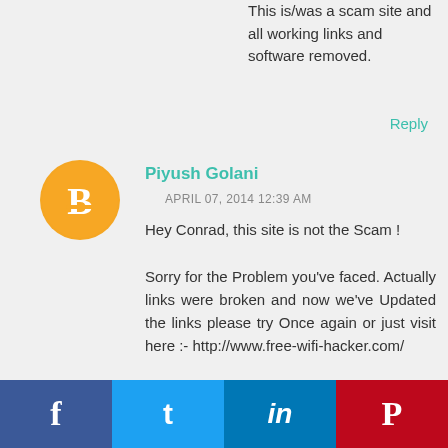This is/was a scam site and all working links and software removed.
Reply
[Figure (illustration): Blogger user avatar: orange circle with white 'B' icon]
Piyush Golani
APRIL 07, 2014 12:39 AM
Hey Conrad, this site is not the Scam !
Sorry for the Problem you've faced. Actually links were broken and now we've Updated the links please try Once again or just visit here :- http://www.free-wifi-hacker.com/
[Figure (infographic): Social media sharing bar with Facebook, Twitter, LinkedIn, and Pinterest buttons]